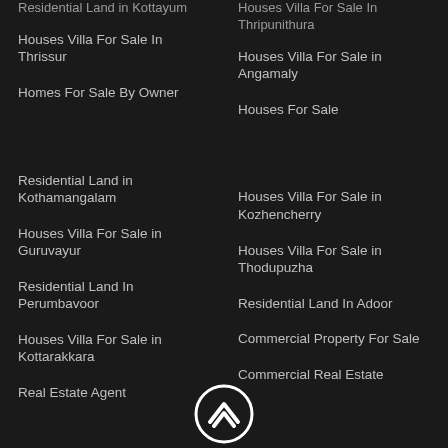Residential Land in Kottayum
Houses Villa For Sale In Thripunithura
Houses Villa For Sale In Thrissur
Houses Villa For Sale in Angamaly
Homes For Sale By Owner
Houses For Sale
Residential Land in Kothamangalam
Houses Villa For Sale in Kozhencherry
Houses Villa For Sale in Guruvayur
Houses Villa For Sale in Thodupuzha
Residential Land In Perumbavoor
Residential Land In Adoor
Commercial Property For Sale
Houses Villa For Sale in Kottarakkara
Commercial Real Estate
Real Estate Agent
[Figure (logo): Circular logo with upward chevron/arrow symbol in white on dark background]